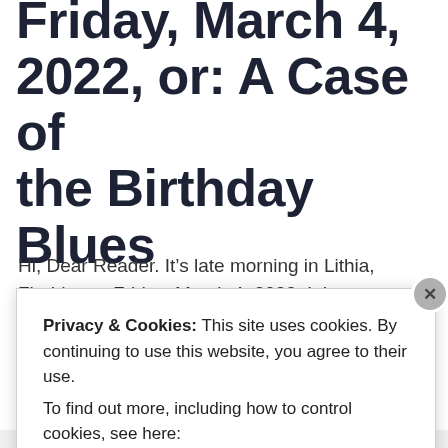Friday, March 4, 2022, or: A Case of the Birthday Blues
Hi, Dear Reader. It’s late morning in Lithia, Florida, on Friday, March 4, 2022. It is a warm spring day in the Tampa Bay area. Currently, the temperature is 81°F
Privacy & Cookies: This site uses cookies. By continuing to use this website, you agree to their use. To find out more, including how to control cookies, see here: Cookie Policy
Close and accept